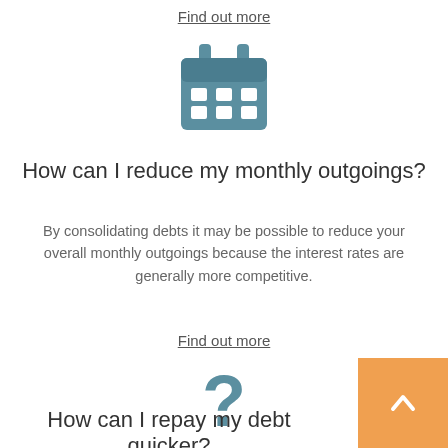Find out more
[Figure (illustration): Teal/slate blue calendar icon with grid of date squares]
How can I reduce my monthly outgoings?
By consolidating debts it may be possible to reduce your overall monthly outgoings because the interest rates are generally more competitive.
Find out more
[Figure (illustration): Teal/slate blue question mark icon]
How can I repay my debt quicker?